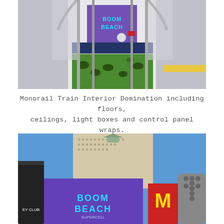[Figure (photo): Interior of a monorail train with open doors showing Boom Beach branded wraps on the floor (green with craters), ceiling, walls, and a purple Boom Beach advertisement visible inside the car. The train is viewed straight on from the platform.]
Monorail Train Interior Domination including floors, ceilings, light boxes and control panel wraps.
[Figure (photo): Exterior street view in Las Vegas showing a large purple Boom Beach advertisement on a building facade, with the Monte Carlo hotel tower visible in the background against a blue sky. A large silver cylindrical structure and M sign are visible on the right.]